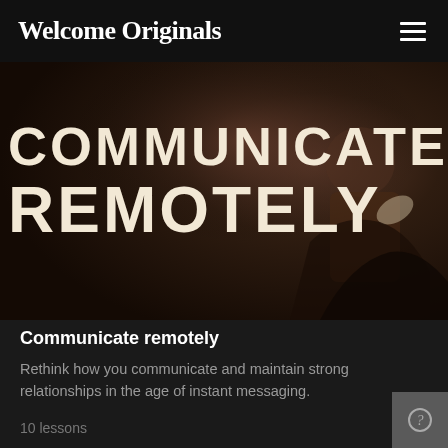Welcome Originals
[Figure (photo): Hero image with dark warm-toned background showing a person silhouette, with large bold text overlay reading COMMUNICATE REMOTELY in cream/off-white uppercase letters]
Communicate remotely
Rethink how you communicate and maintain strong relationships in the age of instant messaging.
10 lessons